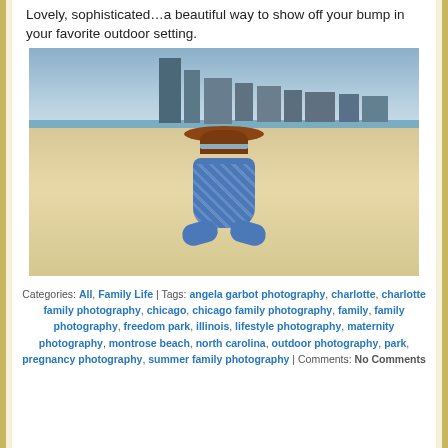Lovely, sophisticated…a beautiful way to show off your bump in your favorite outdoor setting.
[Figure (photo): A pregnant woman in a blue patterned dress and wide-brim brown hat sitting cross-legged on a sandy beach with a city skyline in the background.]
Categories: All, Family Life | Tags: angela garbot photography, charlotte, charlotte family photography, chicago, chicago family photography, family, family photography, freedom park, illinois, lifestyle photography, maternity photography, montrose beach, north carolina, outdoor photography, park, pregnancy photography, summer family photography | Comments: No Comments